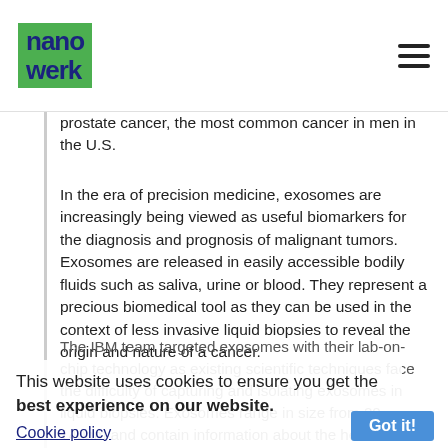nanowerk [logo] [hamburger menu]
prostate cancer, the most common cancer in men in the U.S.
In the era of precision medicine, exosomes are increasingly being viewed as useful biomarkers for the diagnosis and prognosis of malignant tumors. Exosomes are released in easily accessible bodily fluids such as saliva, urine or blood. They represent a precious biomedical tool as they can be used in the context of less invasive liquid biopsies to reveal the origin and nature of a cancer.
The IBM team targeted exosomes with their lab-on-chip technology as existing scientific techniques face the difficulty of capturing and isolating exosomes in liquid biopsies. Exosomes range in size from 20-140nm and contain information about the health of the originating cell that they are shed from. A determination of the size, surface proteins and nucleic acid cargo carried by exosomes can give essential information about the presence and state of
This website uses cookies to ensure you get the best experience on our website.
Cookie policy